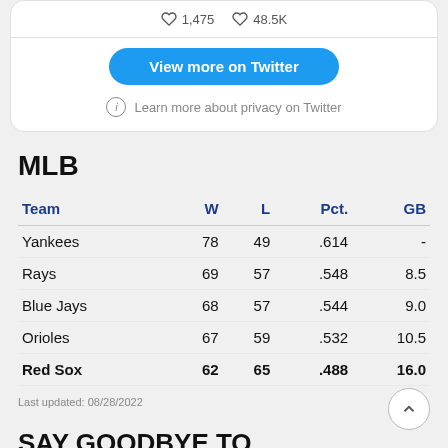[Figure (screenshot): Twitter embed card showing like counts (1,475 and 48.5K), a 'View more on Twitter' button, and a privacy note]
MLB
| Team | W | L | Pct. | GB |
| --- | --- | --- | --- | --- |
| Yankees | 78 | 49 | .614 | - |
| Rays | 69 | 57 | .548 | 8.5 |
| Blue Jays | 68 | 57 | .544 | 9.0 |
| Orioles | 67 | 59 | .532 | 10.5 |
| Red Sox | 62 | 65 | .488 | 16.0 |
Last updated: 08/28/2022
SAY GOODBYE TO....